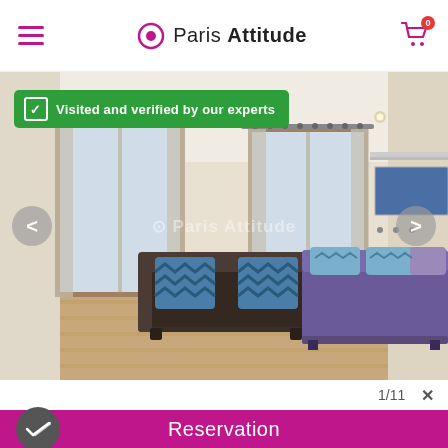Paris Attitude
[Figure (photo): Interior photo of a Paris apartment studio showing a brown sofa with blue chevron pillows, a purple-covered double bed with matching pillows, large windows with sheer curtains, light wood flooring, and a city photo print on the wall. Paris Attitude watermark overlaid.]
Visited and verified by our experts
1/11 ×
Reservation